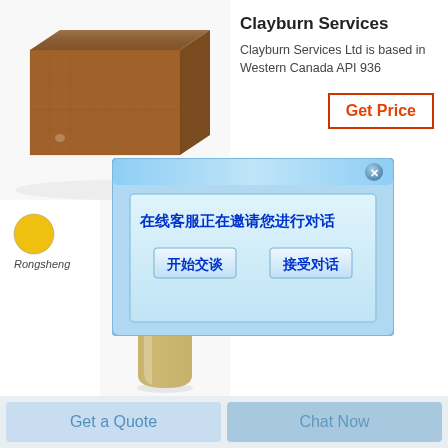[Figure (photo): A brown refractory brick on a white background]
Clayburn Services
Clayburn Services Ltd is based in Western Canada API 936
Get Price
[Figure (screenshot): A Chinese language chat popup dialog with message '在线客服正在邀请您进行对话' and two buttons '开始交谈' and '接受对话']
[Figure (logo): Rongsheng logo - colorful sphere icon with text 'Rongsheng']
[Figure (photo): A glass vial or bottle containing granular material, on white background]
Get a Quote
Chat Now